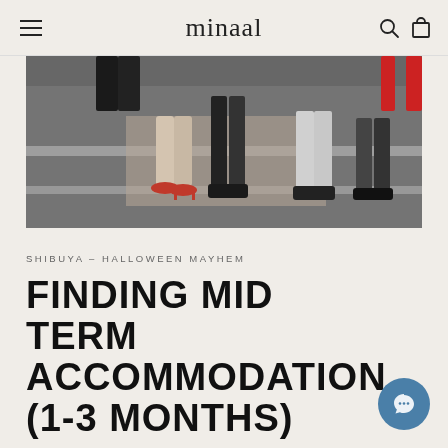minaal
[Figure (photo): Close-up photo of people's legs and feet on a street crosswalk, some wearing red high heels, dark stockings, and black shoes on an asphalt road with white painted lines.]
SHIBUYA – HALLOWEEN MAYHEM
FINDING MID TERM ACCOMMODATION (1-3 MONTHS)